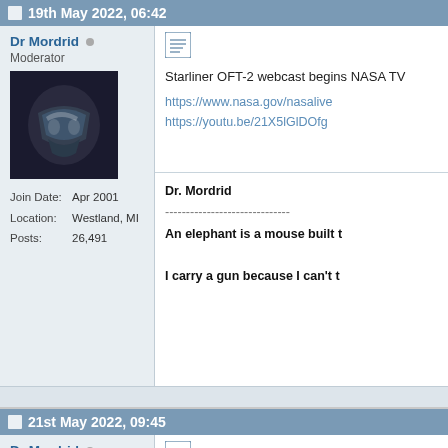19th May 2022, 06:42
Dr Mordrid
Moderator
Join Date: Apr 2001
Location: Westland, MI
Posts: 26,491
Starliner OFT-2 webcast begins NASA TV
https://www.nasa.gov/nasalive
https://youtu.be/21X5lGlDOfg
Dr. Mordrid
------------------------------
An elephant is a mouse built t
I carry a gun because I can't t
21st May 2022, 09:45
Dr Mordrid
Moderator
Let's run through the OFT-2 pro